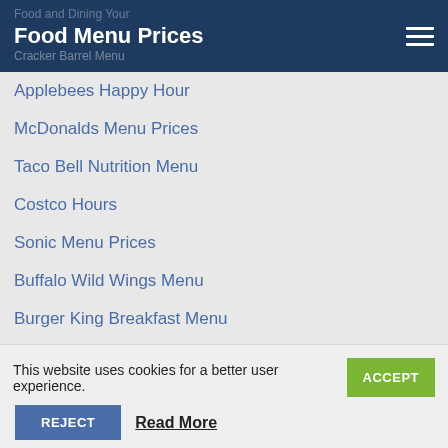Food Menu Prices
Cracker Barrel Menu
Applebees Happy Hour
McDonalds Menu Prices
Taco Bell Nutrition Menu
Costco Hours
Sonic Menu Prices
Buffalo Wild Wings Menu
Burger King Breakfast Menu
Melting Pot Menu
Pizza Hut Deals
Kohls Coupon Codes
Bojangles Menu Prices
Boston Market Menu
Little Caesars Menu
This website uses cookies for a better user experience.
ACCEPT
REJECT
Read More